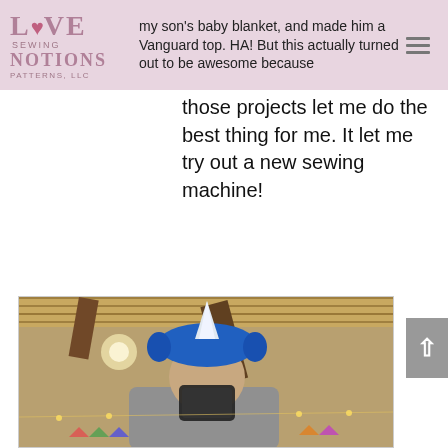Love Notions Sewing Patterns, LLC
my son's baby blanket, and made him a Vanguard top. HA! But this actually turned out to be awesome because those projects let me do the best thing for me. It let me try out a new sewing machine!
[Figure (photo): Person taking a selfie in a mirror wearing a blue unicorn headband with white horn, inside a rustic wooden cabin decorated for a party with string lights and bunting.]